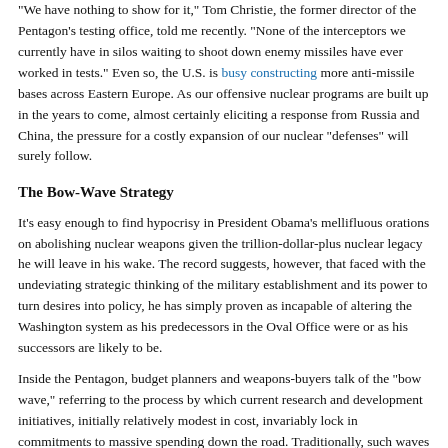“We have nothing to show for it,” Tom Christie, the former director of the Pentagon’s testing office, told me recently. “None of the interceptors we currently have in silos waiting to shoot down enemy missiles have ever worked in tests.” Even so, the U.S. is busy constructing more anti-missile bases across Eastern Europe. As our offensive nuclear programs are built up in the years to come, almost certainly eliciting a response from Russia and China, the pressure for a costly expansion of our nuclear “defenses” will surely follow.
The Bow-Wave Strategy
It’s easy enough to find hypocrisy in President Obama’s mellifluous orations on abolishing nuclear weapons given the trillion-dollar-plus nuclear legacy he will leave in his wake. The record suggests, however, that faced with the undeviating strategic thinking of the military establishment and its power to turn desires into policy, he has simply proven as incapable of altering the Washington system as his predecessors in the Oval Office were or as his successors are likely to be.
Inside the Pentagon, budget planners and weapons-buyers talk of the “bow wave,” referring to the process by which current research and development initiatives, initially relatively modest in cost, invariably lock in commitments to massive spending down the road. Traditionally, such waves start to form at times when the military is threatened with possible spending cutbacks due to the end of a war or some other budgetary crisis.
Former Pentagon analyst Franklin “Chuck” Spinney, who spent years observing and chronicling the phenomenon from the inside, recalls an early 1970s bow wave at a time when withdrawal from Vietnam appeared